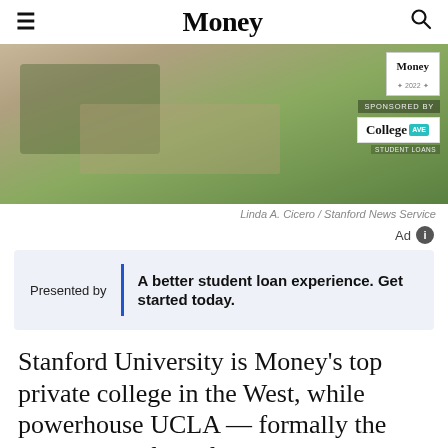Money
[Figure (photo): Aerial/elevated view of a university campus (Stanford) with pathways, trees, grass, and buildings. Sponsor badge overlay with Money 2022 logo and College Ave Student Loans branding.]
Linda A. Cicero / Stanford News Service
Ad
Presented by | A better student loan experience. Get started today.
Stanford University is Money's top private college in the West, while powerhouse UCLA — formally the University of California, Los Angeles — is the highest scoring public college in the region.